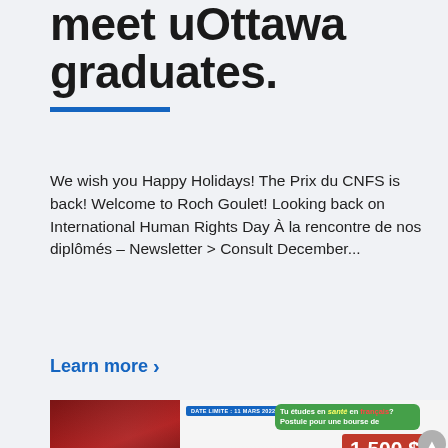meet uOttawa graduates.
We wish you Happy Holidays! The Prix du CNFS is back! Welcome to Roch Goulet! Looking back on International Human Rights Day À la rencontre de nos diplômés – Newsletter > Consult December...
Learn more >
[Figure (photo): Two promotional images side by side: left shows a red newsletter cover titled 'Hiver 2022 - À la rencontre de nos diplômés'; right shows a scholarship advertisement for 1500$ with text 'Tu études en santé en français? Postule pour une bourse de' and 'Prix du CNES' logo with people celebrating.]